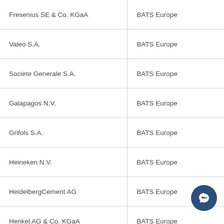| Fresenius SE & Co. KGaA | BATS Europe |
| Valeo S.A. | BATS Europe |
| Societe Generale S.A. | BATS Europe |
| Galapagos N.V. | BATS Europe |
| Grifols S.A. | BATS Europe |
| Heineken N.V. | BATS Europe |
| HeidelbergCement AG | BATS Europe |
| Henkel AG & Co. KGaA | BATS Europe |
| Industria de Diseno Textil S.A. | BATS Europe |
| Jeronimo Martins | BATS Europe |
| KBC Group S.A./N.V. | BATS Europe |
|  |  |